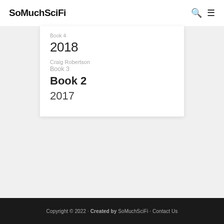SoMuchSciFi
Book 4
2018
Craig Robertson
Book 3
Book 2
2017
Copyright © 2022 · Created by SoMuchSciFi · Contact Us